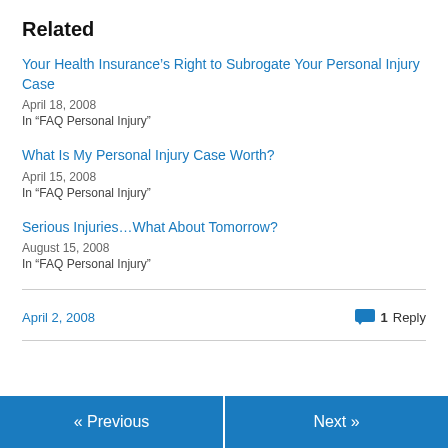Related
Your Health Insurance’s Right to Subrogate Your Personal Injury Case
April 18, 2008
In “FAQ Personal Injury”
What Is My Personal Injury Case Worth?
April 15, 2008
In “FAQ Personal Injury”
Serious Injuries…What About Tomorrow?
August 15, 2008
In “FAQ Personal Injury”
April 2, 2008   1 Reply
« Previous    Next »